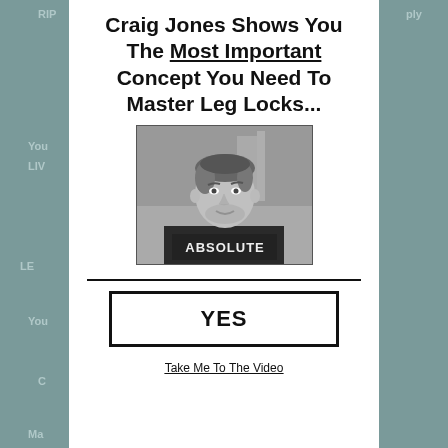Craig Jones Shows You The Most Important Concept You Need To Master Leg Locks...
[Figure (photo): Black and white photo of Craig Jones, a BJJ/grappling athlete, wearing a dark rashguard with 'ABSOLUTE' text, smiling, in a gym setting]
YES
Take Me To The Video